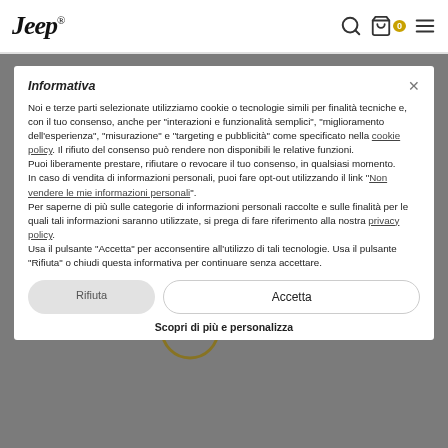Jeep — search, cart (0), menu
Giacche
Uomo > Abbigliamento > Giacche
Ordina   Filtri
Informativa

Noi e terze parti selezionate utilizziamo cookie o tecnologie simili per finalità tecniche e, con il tuo consenso, anche per "interazioni e funzionalità semplici", "miglioramento dell'esperienza", "misurazione" e "targeting e pubblicità" come specificato nella cookie policy. Il rifiuto del consenso può rendere non disponibili le relative funzioni.
Puoi liberamente prestare, rifiutare o revocare il tuo consenso, in qualsiasi momento.
In caso di vendita di informazioni personali, puoi fare opt-out utilizzando il link "Non vendere le mie informazioni personali".
Per saperne di più sulle categorie di informazioni personali raccolte e sulle finalità per le quali tali informazioni saranno utilizzate, si prega di fare riferimento alla nostra privacy policy.
Usa il pulsante "Accetta" per acconsentire all'utilizzo di tali tecnologie. Usa il pulsante "Rifiuta" o chiudi questa informativa per continuare senza accettare.
Rifiuta
Accetta
Scopri di più e personalizza